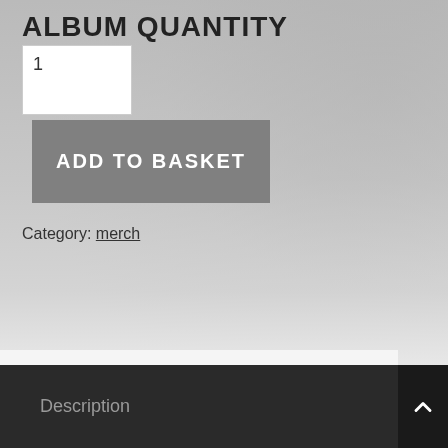ALBUM QUANTITY
1
ADD TO BASKET
Category: merch
Description